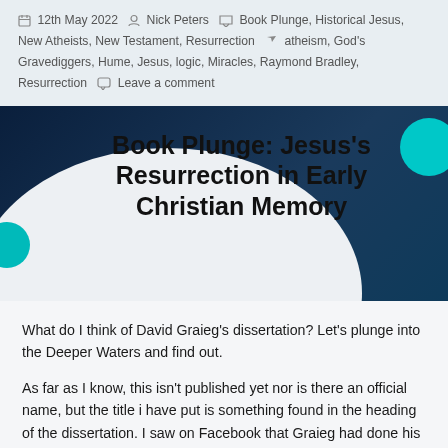12th May 2022  Nick Peters  Book Plunge, Historical Jesus, New Atheists, New Testament, Resurrection  atheism, God's Gravediggers, Hume, Jesus, logic, Miracles, Raymond Bradley, Resurrection  Leave a comment
Book Plunge: Jesus's Resurrection in Early Christian Memory
What do I think of David Graieg's dissertation? Let's plunge into the Deeper Waters and find out.
As far as I know, this isn't published yet nor is there an official name, but the title i have put is something found in the heading of the dissertation. I saw on Facebook that Graieg had done his